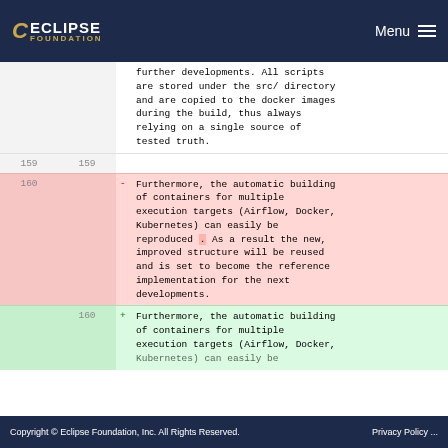Eclipse Foundation | Menu
| old | new | +/- | content |
| --- | --- | --- | --- |
|  |  |  | further developments. All scripts are stored under the src/ directory and are copied to the docker images during the build, thus always relying on a single source of tested truth. |
| 159 | 159 |  |  |
| 160 |  | - | Furthermore, the automatic building of containers for multiple execution targets (Airflow, Docker, Kubernetes) can easily be reproduced . As a result the new, improved structure will be reused and is set to become the reference implementation for the next developments. |
|  | 160 | + | Furthermore, the automatic building of containers for multiple execution targets (Airflow, Docker, Kubernetes) can easily be |
Copyright © Eclipse Foundation, Inc. All Rights Reserved.   Privacy Policy ...